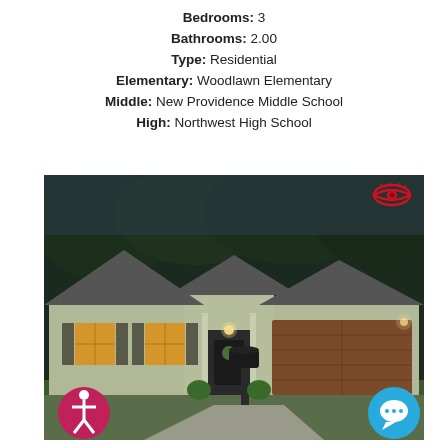Bedrooms: 3
Bathrooms: 2.00
Type: Residential
Elementary: Woodlawn Elementary
Middle: New Providence Middle School
High: Northwest High School
[Figure (photo): Exterior photo of a single-story residential home at dusk, showing light grey/green siding, brown garage door, front entry with lit porch light, mailbox in driveway. Red eye icon in top right corner. Accessibility icon (pink circle with figure) in bottom left. Blue chat bubble icon in bottom right.]